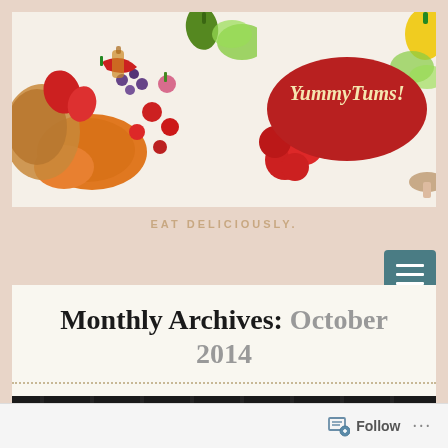[Figure (illustration): YummyTums! food blog banner with vegetables, bread, and produce scattered on the left, and a red oval logo with italic text 'YummyTums!' on the right with tomatoes and yellow pepper]
EAT DELICIOUSLY.
Monthly Archives: October 2014
[Figure (photo): Close-up photo of a golden-brown pie crust on a dark oven rack, taken from above at an angle]
Follow ...